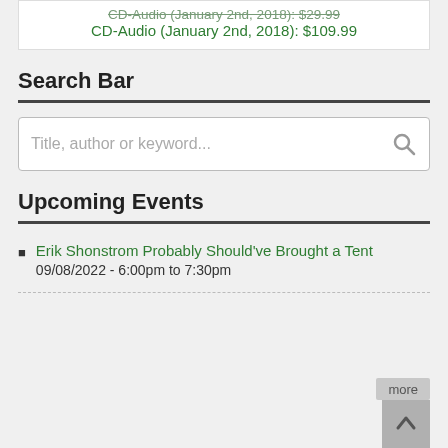CD-Audio (January 2nd, 2018): $29.99
CD-Audio (January 2nd, 2018): $109.99
Search Bar
[Figure (other): Search bar input field with placeholder text 'Title, author or keyword...' and a search icon]
Upcoming Events
Erik Shonstrom Probably Should've Brought a Tent
09/08/2022 - 6:00pm to 7:30pm